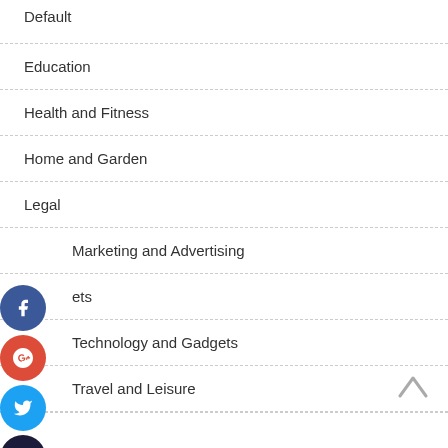Default
Education
Health and Fitness
Home and Garden
Legal
Marketing and Advertising
Pets
Technology and Gadgets
Travel and Leisure